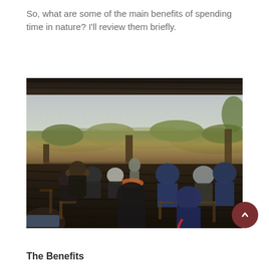So, what are some of the main benefits of spending time in nature?  I'll review them briefly.
[Figure (photo): A group of people sitting in chairs on a wooden deck or patio, viewed from behind, facing a speaker or instructor seated in front of them. The setting is outdoors in a savanna or bushveld landscape with trees and shrubs visible in the background under an overcast sky. People are dressed in jackets and warm clothing.]
The Benefits